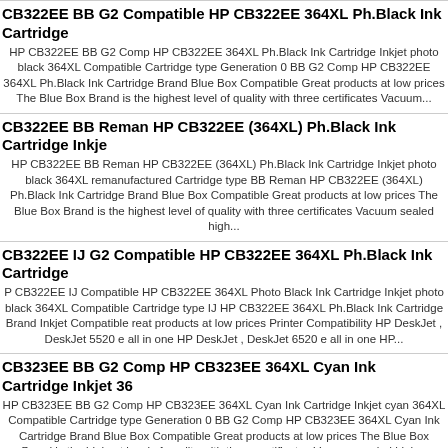CB322EE BB G2 Compatible HP CB322EE 364XL Ph.Black Ink Cartridge
HP CB322EE BB G2 Comp HP CB322EE 364XL Ph.Black Ink Cartridge Inkjet photo black 364XL Compatible Cartridge type Generation 0 BB G2 Comp HP CB322EE 364XL Ph.Black Ink Cartridge Brand Blue Box Compatible Great products at low prices The Blue Box Brand is the highest level of quality with three certificates Vacuum...
CB322EE BB Reman HP CB322EE (364XL) Ph.Black Ink Cartridge Inkje
HP CB322EE BB Reman HP CB322EE (364XL) Ph.Black Ink Cartridge Inkjet photo black 364XL remanufactured Cartridge type BB Reman HP CB322EE (364XL) Ph.Black Ink Cartridge Brand Blue Box Compatible Great products at low prices The Blue Box Brand is the highest level of quality with three certificates Vacuum sealed high...
CB322EE IJ G2 Compatible HP CB322EE 364XL Ph.Black Ink Cartridge
P CB322EE IJ Compatible HP CB322EE 364XL Photo Black Ink Cartridge Inkjet photo black 364XL Compatible Cartridge type IJ HP CB322EE 364XL Ph.Black Ink Cartridge Brand Inkjet Compatible reat products at low prices Printer Compatibility HP DeskJet , DeskJet 5520 e all in one HP DeskJet , DeskJet 6520 e all in one HP...
CB323EE BB G2 Comp HP CB323EE 364XL Cyan Ink Cartridge Inkjet 36
HP CB323EE BB G2 Comp HP CB323EE 364XL Cyan Ink Cartridge Inkjet cyan 364XL Compatible Cartridge type Generation 0 BB G2 Comp HP CB323EE 364XL Cyan Ink Cartridge Brand Blue Box Compatible Great products at low prices The Blue Box Brand is the highest level of quality with three certificates Vacuum sealed high...
CB323EE BB Reman HP CB323EE (364XL) Cyan Ink Cartridge Inkjet 36
HP CB323EE BB Reman HP CB323EE (364XL) Cyan Ink Cartridge Inkjet cyan 364XL remanufactured Cartridge type BB Reman HP CB323EE (364XL) Cyan Ink Cartridge Brand Blue Box Compatible Great products at low prices The Blue Box Brand is the highest level of quality with three certificates Vacuum sealed high capacity finest...
CB323EE IJ G2 Comp HP CB323EE 364XL Cyan Ink Cartridge Inkjet 36
HP CB323EE IJ G2 Comp HP CB323EE 364XL Cyan Ink Cartridge Inkjet cyan 364XL Compatible Cartridge type Generation 0 IJ G2 Comp HP CB323EE 364XL Cyan Ink Cartridge Brand Inkjet Compatible Great products at low prices Printer Compatibility HP DeskJet , DeskJet 3070A HP